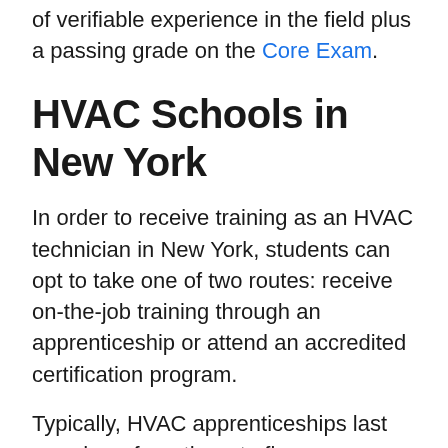of verifiable experience in the field plus a passing grade on the Core Exam.
HVAC Schools in New York
In order to receive training as an HVAC technician in New York, students can opt to take one of two routes: receive on-the-job training through an apprenticeship or attend an accredited certification program.
Typically, HVAC apprenticeships last anywhere from three to five years. These are very beneficial as they provide the necessary years of practical experience required to sit for EPA exams.
Some of the best places to seek